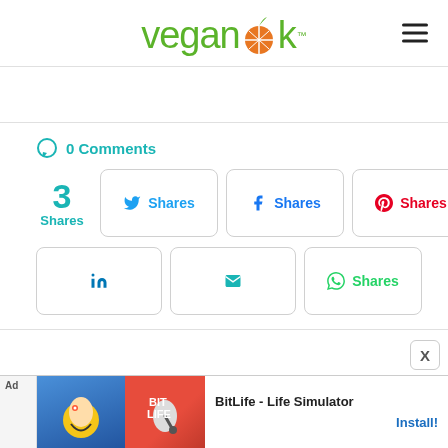[Figure (logo): VeganOk logo with green text and orange citrus slice icon, plus hamburger menu icon on the right]
0 Comments
3 Shares
Shares (Twitter)
Shares (Facebook)
Shares (Pinterest)
LinkedIn share
Email share
Shares (WhatsApp)
[Figure (screenshot): Ad banner for BitLife - Life Simulator app with Install button]